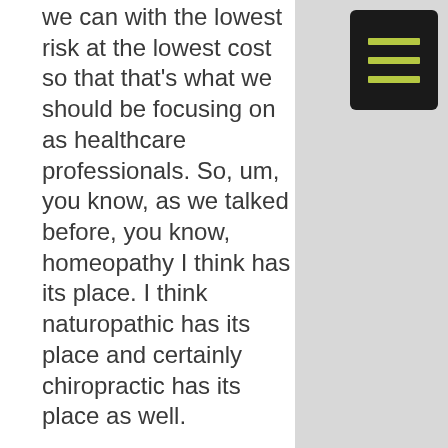we can with the lowest risk at the lowest cost so that that's what we should be focusing on as healthcare professionals. So, um, you know, as we talked before, you know, homeopathy I think has its place. I think naturopathic has its place and certainly chiropractic has its place as well.
[Figure (other): Hamburger menu button with three yellow-green horizontal lines on a dark background]
Speaker 1: 04:56 So how do I best refer patients? How, who, who benefits the most, what, why Chiropractic, what can you, how can you help me out? Absolutely. And traditionally, you know,